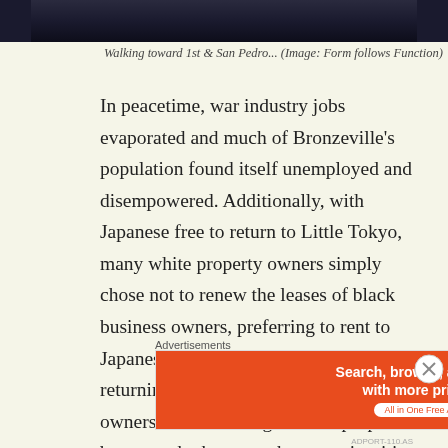[Figure (photo): Dark photo strip at top of page showing people walking, cropped]
Walking toward 1st & San Pedro... (Image: Form follows Function)
In peacetime, war industry jobs evaporated and much of Bronzeville's population found itself unemployed and disempowered. Additionally, with Japanese free to return to Little Tokyo, many white property owners simply chose not to renew the leases of black business owners, preferring to rent to Japanese tenants. There were examples of returning Japanese sued black business owners in order to regain their properties but empathy between the two minorities seems to have been more common. Black Reverend Hamilton T. Boswell condemned the internment of the Japanese as "the greatest
Advertisements
[Figure (screenshot): DuckDuckGo advertisement banner: orange section with text 'Search, browse, and email with more privacy. All in One Free App' and dark section with DuckDuckGo logo]